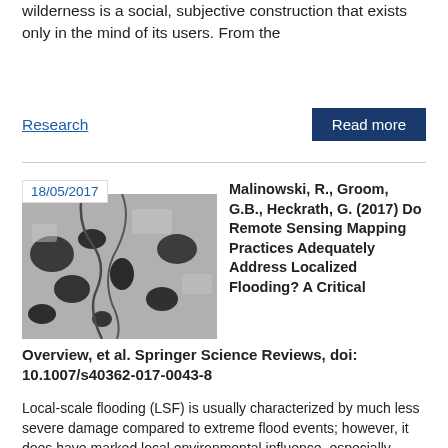wilderness is a social, subjective construction that exists only in the mind of its users. From the
Research
Read more
[Figure (photo): Grayscale aerial/satellite image showing a landscape with meandering river channels and dark patches representing water bodies or vegetation.]
Malinowski, R., Groom, G.B., Heckrath, G. (2017) Do Remote Sensing Mapping Practices Adequately Address Localized Flooding? A Critical Overview, et al. Springer Science Reviews, doi: 10.1007/s40362-017-0043-8
Local-scale flooding (LSF) is usually characterized by much less severe damage compared to extreme flood events; however, it does have marked local environmental influence, especially when it is